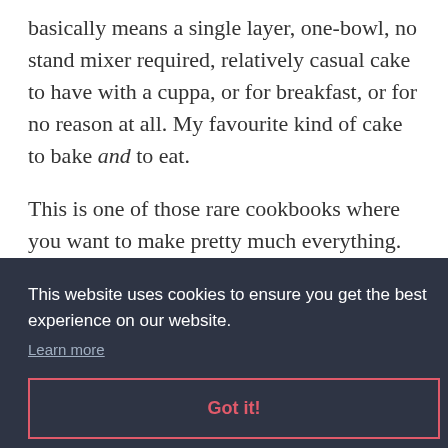basically means a single layer, one-bowl, no stand mixer required, relatively casual cake to have with a cuppa, or for breakfast, or for no reason at all. My favourite kind of cake to bake and to eat.
This is one of those rare cookbooks where you want to make pretty much everything. It's a great
This website uses cookies to ensure you get the best experience on our website.
Learn more
Got it!
[Figure (photo): Bottom portion of a book cover showing the word 'cracking' in bold italic text on a warm yellow/orange background]